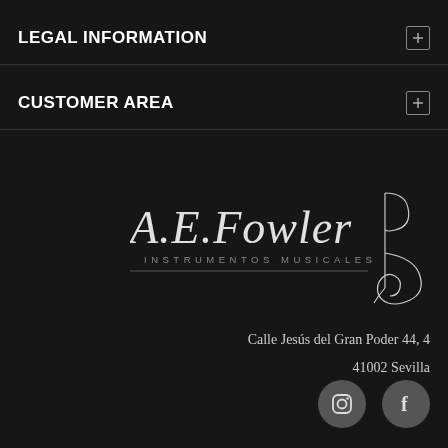LEGAL INFORMATION
CUSTOMER AREA
[Figure (logo): A.E.Fowler Instrumentos Musicales logo with stylized violin/cello scroll graphic on dark background]
Calle Jesús del Gran Poder 44, 4
41002 Sevilla
[Figure (other): Instagram and Facebook social media icons in grey circles]